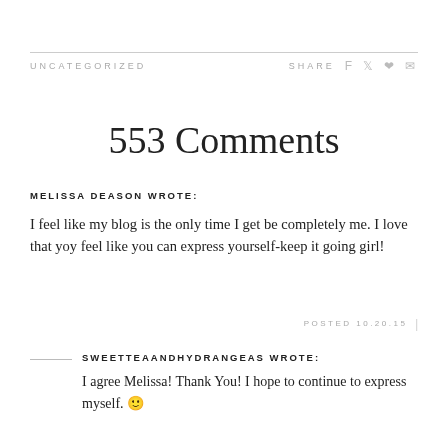UNCATEGORIZED    SHARE
553 Comments
MELISSA DEASON WROTE:
I feel like my blog is the only time I get be completely me. I love that yoy feel like you can express yourself-keep it going girl!
POSTED 10.20.15
SWEETTEAANDHYDRANGEAS WROTE:
I agree Melissa! Thank You! I hope to continue to express myself. 🙂